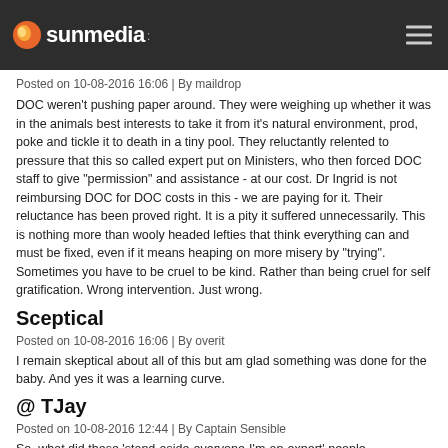sunmedia
Posted on 10-08-2016 16:06 | By maildrop
DOC weren't pushing paper around. They were weighing up whether it was in the animals best interests to take it from it's natural environment, prod, poke and tickle it to death in a tiny pool. They reluctantly relented to pressure that this so called expert put on Ministers, who then forced DOC staff to give "permission" and assistance - at our cost. Dr Ingrid is not reimbursing DOC for DOC costs in this - we are paying for it. Their reluctance has been proved right. It is a pity it suffered unnecessarily. This is nothing more than wooly headed lefties that think everything can and must be fixed, even if it means heaping on more misery by "trying". Sometimes you have to be cruel to be kind. Rather than being cruel for self gratification. Wrong intervention. Just wrong.
Sceptical
Posted on 10-08-2016 16:06 | By overit
I remain skeptical about all of this but am glad something was done for the baby. And yes it was a learning curve.
@ TJay
Posted on 10-08-2016 12:44 | By Captain Sensible
So, what did these 'stand-aside-everyone-I'm-an-expert' people